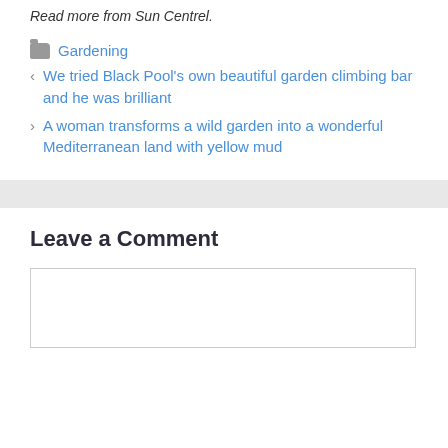Read more from Sun Centrel.
Gardening
< We tried Black Pool’s own beautiful garden climbing bar and he was brilliant
> A woman transforms a wild garden into a wonderful Mediterranean land with yellow mud
Leave a Comment